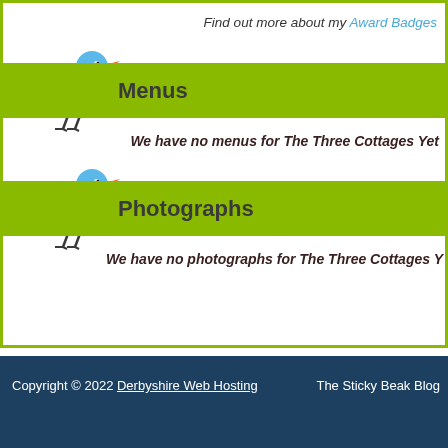Find out more about my Award Badges
Menus
We have no menus for The Three Cottages Yet
Photographs
We have no photographs for The Three Cottages Y
Copyright © 2022 Derbyshire Web Hosting   The Sticky Beak Blog